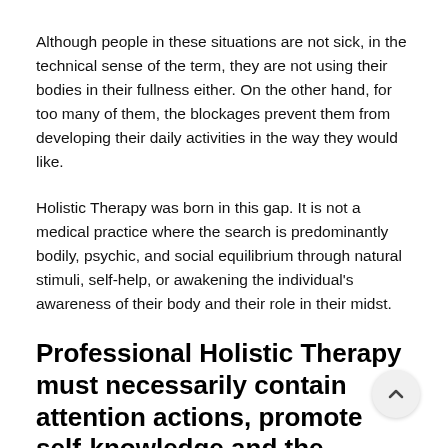Although people in these situations are not sick, in the technical sense of the term, they are not using their bodies in their fullness either. On the other hand, for too many of them, the blockages prevent them from developing their daily activities in the way they would like.
Holistic Therapy was born in this gap. It is not a medical practice where the search is predominantly bodily, psychic, and social equilibrium through natural stimuli, self-help, or awakening the individual's awareness of their body and their role in their midst.
Professional Holistic Therapy must necessarily contain attention actions, promote self-knowledge and the search for energy balance.